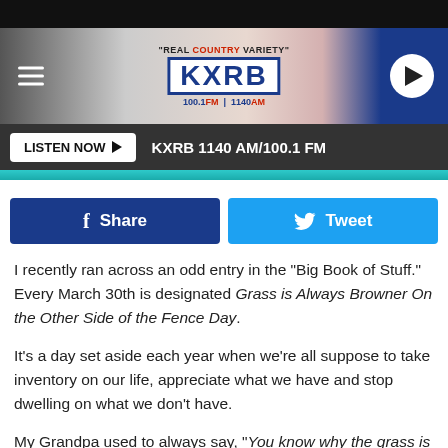[Figure (screenshot): KXRB radio station header banner with logo, tagline 'REAL COUNTRY VARIETY', frequency 100.1 FM | 1140 AM, hamburger menu icon and play button]
LISTEN NOW ▶  KXRB 1140 AM/100.1 FM
[Figure (infographic): Facebook Share and Twitter Tweet social sharing buttons]
I recently ran across an odd entry in the "Big Book of Stuff." Every March 30th is designated Grass is Always Browner On the Other Side of the Fence Day.
It's a day set aside each year when we're all suppose to take inventory on our life, appreciate what we have and stop dwelling on what we don't have.
My Grandpa used to always say, "You know why the grass is